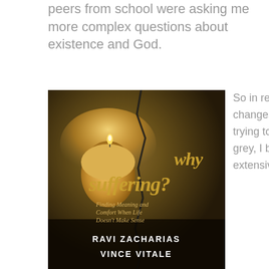peers from school were asking me more complex questions about existence and God.
[Figure (photo): Book cover of 'Why Suffering? Finding Meaning and Comfort When Life Doesn't Make Sense' by Ravi Zacharias and Vince Vitale. Dark background with a lit candle and a crack running through the image. Title in gold text.]
So in response to these changes in my life and trying to navigate the grey, I began some extensive research